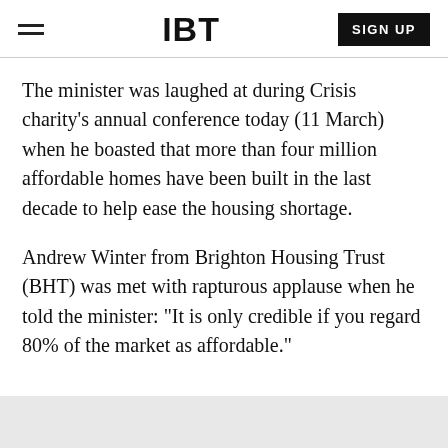IBT | SIGN UP
The minister was laughed at during Crisis charity's annual conference today (11 March) when he boasted that more than four million affordable homes have been built in the last decade to help ease the housing shortage.
Andrew Winter from Brighton Housing Trust (BHT) was met with rapturous applause when he told the minister: "It is only credible if you regard 80% of the market as affordable."